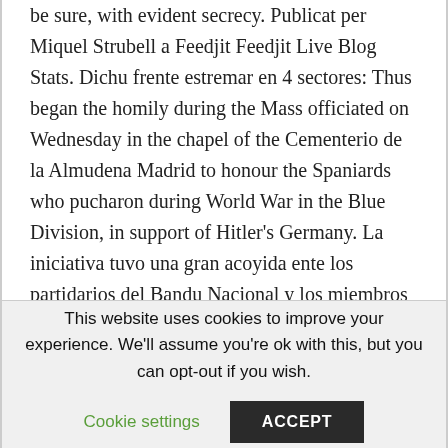be sure, with evident secrecy. Publicat per Miquel Strubell a Feedjit Feedjit Live Blog Stats. Dichu frente estremar en 4 sectores: Thus began the homily during the Mass officiated on Wednesday in the chapel of the Cementerio de la Almudena Madrid to honour the Spaniards who pucharon during World War in the Blue Division, in support of Hitler's Germany. La iniciativa tuvo una gran acoyida ente los partidarios del Bandu Nacional y los miembros de La Falanxe.
Fernando Vadillo (Author of Orillas del Voljov (La gran
This website uses cookies to improve your experience. We'll assume you're ok with this, but you can opt-out if you wish. Cookie settings ACCEPT